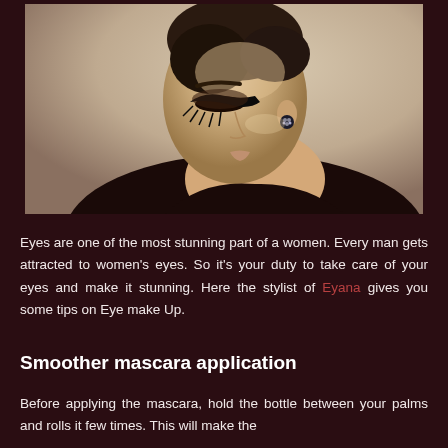[Figure (photo): A glamorous woman with dramatic black winged eyeliner and long lashes, wearing dark clothing and a jeweled earring, photographed against a beige/tan background in a profile-facing-down pose.]
Eyes are one of the most stunning part of a women. Every man gets attracted to women's eyes. So it's your duty to take care of your eyes and make it stunning. Here the stylist of Eyana gives you some tips on Eye make Up.
Smoother mascara application
Before applying the mascara, hold the bottle between your palms and rolls it few times. This will make the